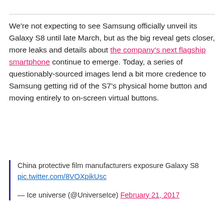We're not expecting to see Samsung officially unveil its Galaxy S8 until late March, but as the big reveal gets closer, more leaks and details about the company's next flagship smartphone continue to emerge. Today, a series of questionably-sourced images lend a bit more credence to Samsung getting rid of the S7's physical home button and moving entirely to on-screen virtual buttons.
China protective film manufacturers exposure Galaxy S8 pic.twitter.com/8VOXpikUsc
— Ice universe (@UniverseIce) February 21, 2017